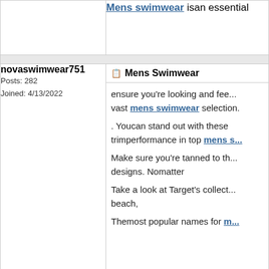Mens swimwear isan essential
novaswimwear751
Posts: 282
Joined: 4/13/2022
Mens Swimwear
ensure you're looking and fee... vast mens swimwear selection.
. Youcan stand out with these trimperformance in top mens s...
Make sure you're tanned to th... designs. Nomatter
Take a look at Target's collect... beach,
Themost popular names for m...
novaswimwear751
Posts: 282
Joined: 4/13/2022
Mens Swimwear
The mens swimwear hasa body wrap one's waist and legs.
The mens swimwear m...